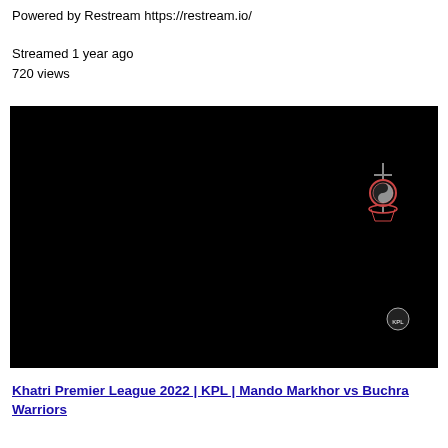Powered by Restream https://restream.io/
Streamed 1 year ago
720 views
[Figure (screenshot): Black video frame with a small basketball league logo in the upper right area and a small circular logo in the lower right area on a black background.]
Khatri Premier League 2022 | KPL | Mando Markhor vs Buchra Warriors